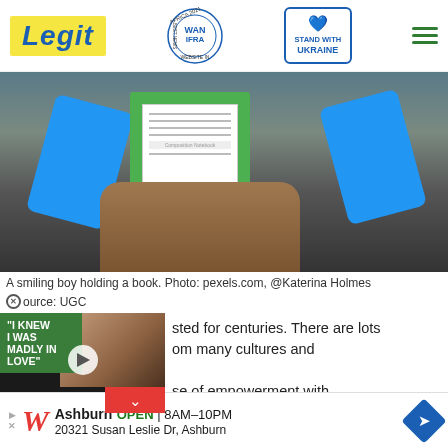Legit — WAN-IFRA 2021 Best News Website in Africa — Stand with Ukraine
[Figure (photo): A smiling boy holding a green composition notebook behind his back, hands visible]
A smiling boy holding a book. Photo: pexels.com, @Katerina Holmes
Source: UGC
[Figure (screenshot): Video thumbnail showing two people with text overlay 'I KNEW I WAS MADLY IN LOVE' on green background, play button, and red chevron down button]
sted for centuries. There are lots om many cultures and
se of empowerment with
[Figure (other): Advertisement banner: Walgreens, Ashburn OPEN 8AM-10PM, 20321 Susan Leslie Dr, Ashburn]